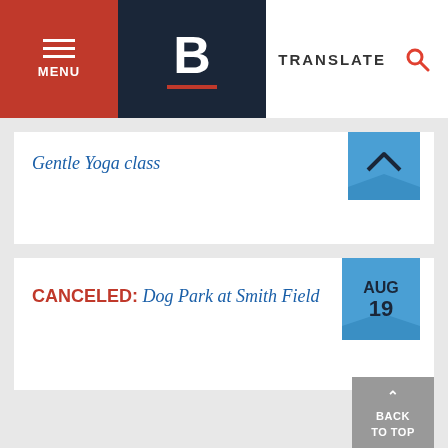MENU | B | TRANSLATE
Gentle Yoga class
CANCELED: Dog Park at Smith Field
Age Strong Virtual Class: Zumba